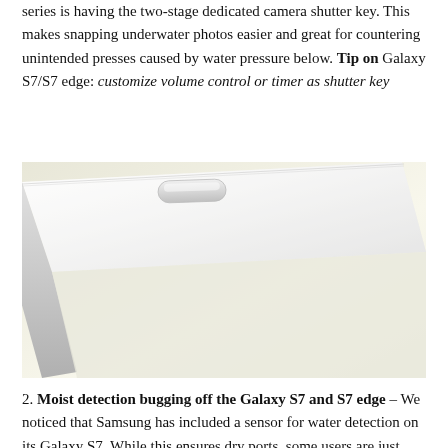series is having the two-stage dedicated camera shutter key. This makes snapping underwater photos easier and great for countering unintended presses caused by water pressure below. Tip on Galaxy S7/S7 edge: customize volume control or timer as shutter key
[Figure (photo): Close-up photo of the side of a white Samsung Galaxy smartphone showing a physical camera shutter button on the edge, shot against a light cream/off-white background at an angle.]
2. Moist detection bugging off the Galaxy S7 and S7 edge – We noticed that Samsung has included a sensor for water detection on its Galaxy S7. While this ensures dry ports, some users are just